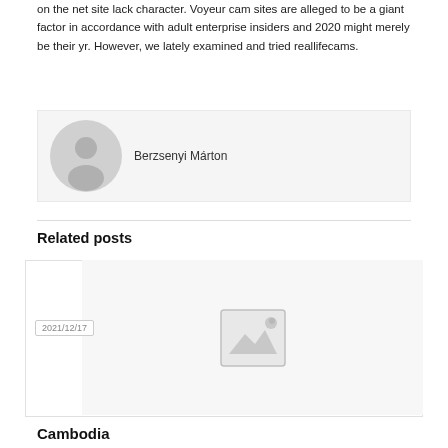on the net site lack character. Voyeur cam sites are alleged to be a giant factor in accordance with adult enterprise insiders and 2020 might merely be their yr. However, we lately examined and tried reallifecams.
Berzsenyi Márton
Related posts
2021/12/17
[Figure (photo): Image placeholder with mountain and sun icon]
Cambodia